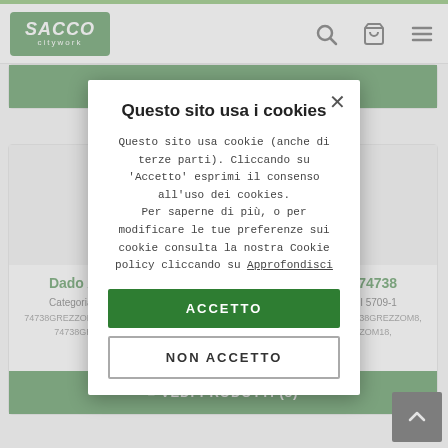SACCO citywork
VEDI PRODOTTI (5)
Dado Alto Autobloccante con anello in nylon - 74738
Categoria: A Tolleranze ISO 4738, Proprietà Meccaniche del corpo UNI 5709-1
74738GREZZOM3, 74738GREZZOM4, 74738GREZZOM5, 74738GREZZOM6, 74738GREZZOM8, 74738GREZZOM10, 74738GREZZOM12, 74738GREZZOM16, 74738GREZZOM18, 74738GREZZOM24
VEDI PRODOTTI (8)
Questo sito usa i cookies
Questo sito usa cookie (anche di terze parti). Cliccando su 'Accetto' esprimi il consenso all'uso dei cookies.
Per saperne di più, o per modificare le tue preferenze sui cookie consulta la nostra Cookie policy cliccando su Approfondisci
ACCETTO
NON ACCETTO